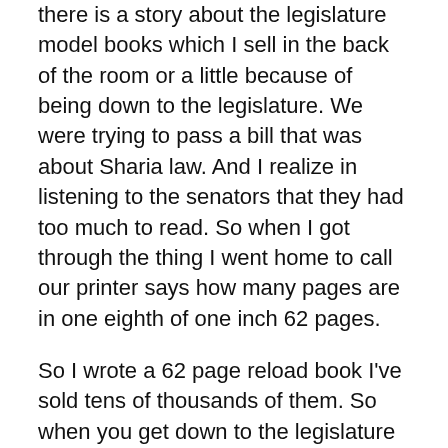there is a story about the legislature model books which I sell in the back of the room or a little because of being down to the legislature. We were trying to pass a bill that was about Sharia law. And I realize in listening to the senators that they had too much to read. So when I got through the thing I went home to call our printer says how many pages are in one eighth of one inch 62 pages.
So I wrote a 62 page reload book I've sold tens of thousands of them. So when you get down to the legislature you can learn a lot that can be very useful to you. And as a consequence it took all my big books and made little books out of them as well. Now I've said them 10 and 20 to 1. So it was not a total loss for me. But do you understand what I'm telling you that I wouldn't even try to go